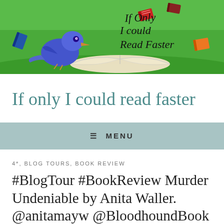[Figure (illustration): Blog header banner showing a cartoon blue/purple bird reading an open book on grass, with flying books in the background. Text overlay reads 'If Only I could Read Faster' in handwritten style on green background.]
If only I could read faster
≡ MENU
4*, BLOG TOURS, BOOK REVIEW
#BlogTour #BookReview Murder Undeniable by Anita Waller. @anitamayw @BloodhoundBook